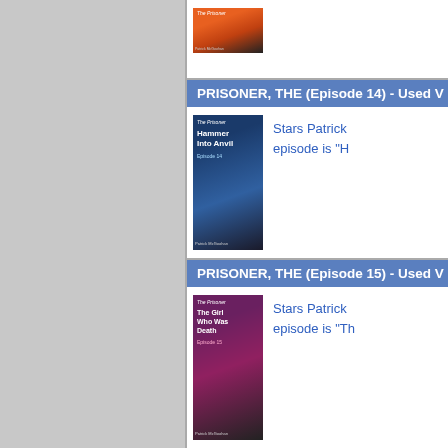[Figure (photo): Partial view of The Prisoner Episode 13 VHS cover at top of page]
PRISONER, THE (Episode 14) - Used V
[Figure (photo): The Prisoner Episode 14 VHS cover - Hammer Into Anvil]
Stars Patrick ... episode is "H
PRISONER, THE (Episode 15) - Used V
[Figure (photo): The Prisoner Episode 15 VHS cover - The Girl Who Was Death]
Stars Patrick ... episode is "Th